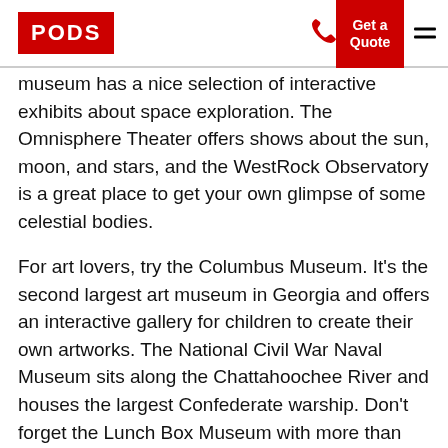PODS | Get a Quote
museum has a nice selection of interactive exhibits about space exploration. The Omnisphere Theater offers shows about the sun, moon, and stars, and the WestRock Observatory is a great place to get your own glimpse of some celestial bodies.
For art lovers, try the Columbus Museum. It's the second largest art museum in Georgia and offers an interactive gallery for children to create their own artworks. The National Civil War Naval Museum sits along the Chattahoochee River and houses the largest Confederate warship. Don't forget the Lunch Box Museum with more than 3,000 different metal lunch boxes.
Whichever Columbus neighborhood you choose, you'll want to get settled ASAP so you can start exploring.